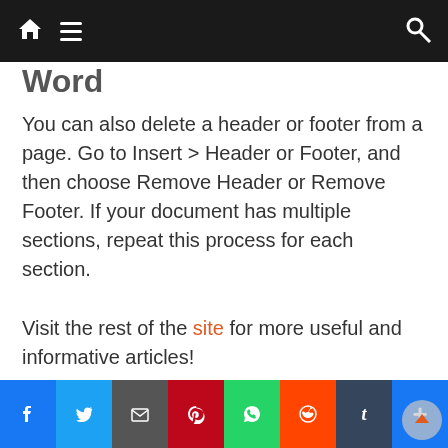Navigation bar with home, menu, and search icons
Word (partial heading visible)
You can also delete a header or footer from a page. Go to Insert > Header or Footer, and then choose Remove Header or Remove Footer. If your document has multiple sections, repeat this process for each section.
Visit the rest of the site for more useful and informative articles!
Related
[Figure (photo): Pink/salmon colored image thumbnail on left]
[Figure (photo): Dark brown brick-pattern image with SonicWall branding on right]
[Figure (infographic): Social sharing bar with Facebook, Twitter, Email, Pinterest, WhatsApp, Reddit, Tumblr, and Plus buttons]